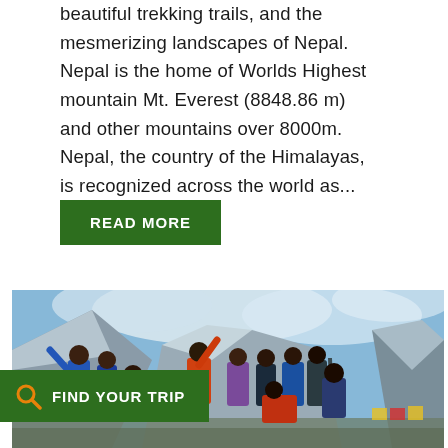beautiful trekking trails, and the mesmerizing landscapes of Nepal. Nepal is the home of Worlds Highest mountain Mt. Everest (8848.86 m) and other mountains over 8000m. Nepal, the country of the Himalayas, is recognized across the world as...
[Figure (other): Button labeled READ MORE with dark green background and white bold uppercase text]
[Figure (photo): Group photo of trekkers/mountaineers posing at Everest Base Camp with snow-covered Himalayan mountains and clouds in background]
[Figure (other): Dark green bar with search/magnifying glass icon and white uppercase text FIND YOUR TRIP]